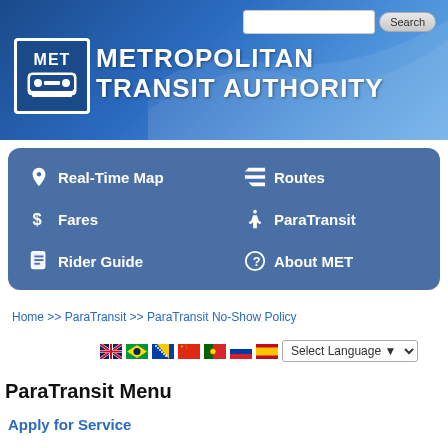[Figure (logo): Metropolitan Transit Authority website screenshot with MET logo, navigation bar, breadcrumb, language selector, and ParaTransit Menu sidebar]
METROPOLITAN TRANSIT AUTHORITY
Real-Time Map   Routes   Fares   ParaTransit   Rider Guide   About MET
Home >> ParaTransit >> ParaTransit No-Show Policy
Select Language
ParaTransit Menu
Apply for Service